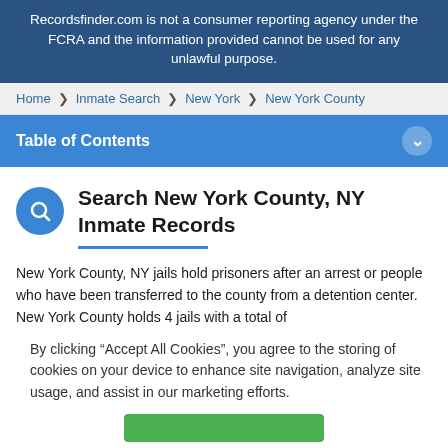Recordsfinder.com is not a consumer reporting agency under the FCRA and the information provided cannot be used for any unlawful purpose.
Home > Inmate Search > New York > New York County
Table of Contents
Search New York County, NY Inmate Records
New York County, NY jails hold prisoners after an arrest or people who have been transferred to the county from a detention center. New York County holds 4 jails with a total of
By clicking “Accept All Cookies”, you agree to the storing of cookies on your device to enhance site navigation, analyze site usage, and assist in our marketing efforts.